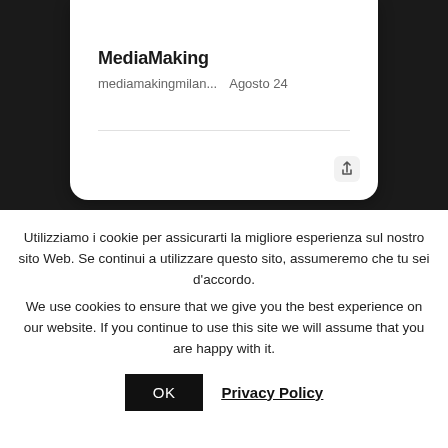[Figure (screenshot): Screenshot of a mobile app card showing MediaMaking profile with share icon, on a dark background]
MediaMaking
mediamakingmilan...  Agosto 24
Utilizziamo i cookie per assicurarti la migliore esperienza sul nostro sito Web. Se continui a utilizzare questo sito, assumeremo che tu sei d'accordo.
We use cookies to ensure that we give you the best experience on our website. If you continue to use this site we will assume that you are happy with it.
OK
Privacy Policy